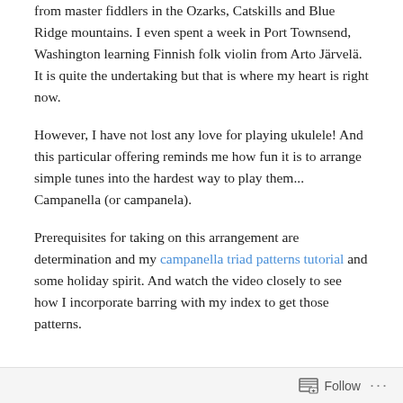from master fiddlers in the Ozarks, Catskills and Blue Ridge mountains. I even spent a week in Port Townsend, Washington learning Finnish folk violin from Arto Järvelä. It is quite the undertaking but that is where my heart is right now.
However, I have not lost any love for playing ukulele! And this particular offering reminds me how fun it is to arrange simple tunes into the hardest way to play them... Campanella (or campanela).
Prerequisites for taking on this arrangement are determination and my campanella triad patterns tutorial and some holiday spirit. And watch the video closely to see how I incorporate barring with my index to get those patterns.
Follow